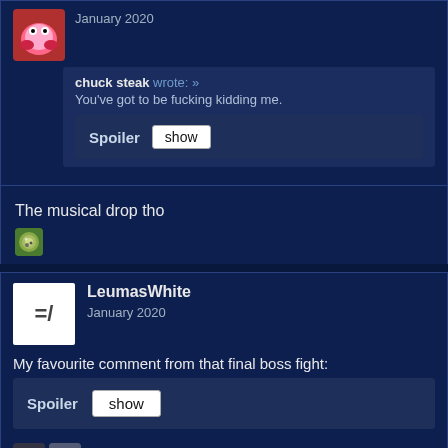January 2020
chuck steak wrote: »
You've got to be fucking kidding me.
Spoiler  show
The musical drop tho
LeumasWhite
January 2020
My favourite comment from that final boss fight:
Spoiler  show